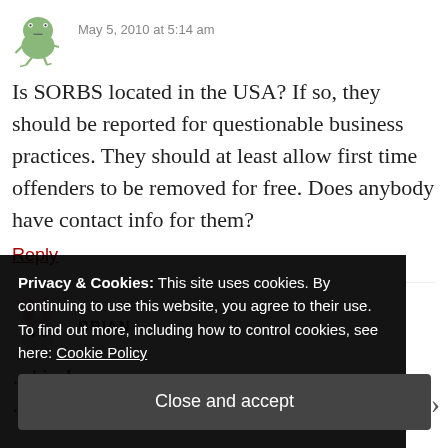[Figure (illustration): Small cartoon frog avatar in green]
May 5, 2010 at 5:14 am
Is SORBS located in the USA? If so, they should be reported for questionable business practices. They should at least allow first time offenders to be removed for free. Does anybody have contact info for them?
Reply
[Figure (illustration): Cartoon bunny ears avatar for Brian]
BRIAN
Privacy & Cookies: This site uses cookies. By continuing to use this website, you agree to their use.
To find out more, including how to control cookies, see here: Cookie Policy
Close and accept